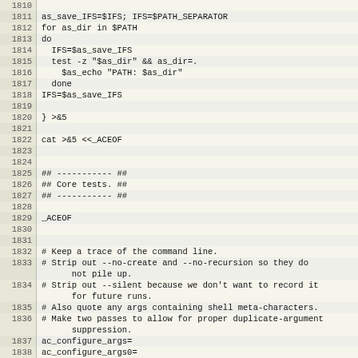[Figure (screenshot): Source code listing with line numbers 1810-1839, showing shell script code including IFS/PATH manipulation, heredoc, core tests comments, and configure argument variables.]